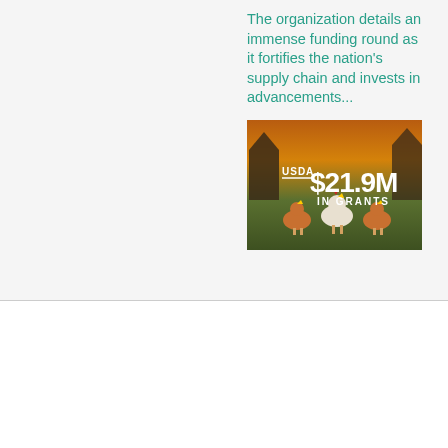The organization details an immense funding round as it fortifies the nation's supply chain and invests in advancements...
[Figure (photo): USDA $21.9M IN GRANTS banner over a farm scene with chickens on green grass at dusk/sunset]
[Figure (logo): dM circular logo in red with white letters d and M]
NEWS
© 2012-2022 delimarketnews.com